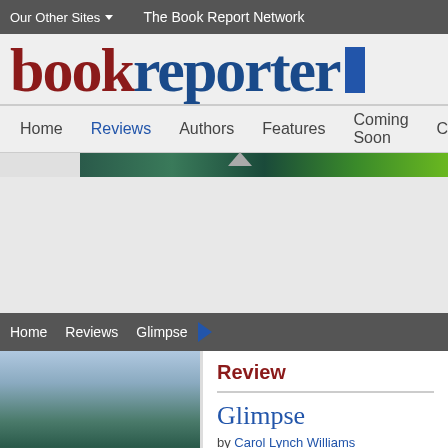Our Other Sites ▼    The Book Report Network
[Figure (logo): bookreporter logo in dark red and dark blue serif text]
Home  Reviews  Authors  Features  Coming Soon  Conte...
[Figure (screenshot): Banner advertisement strip with green gradient]
Home  Reviews  Glimpse ▶
Review
Glimpse
by Carol Lynch Williams